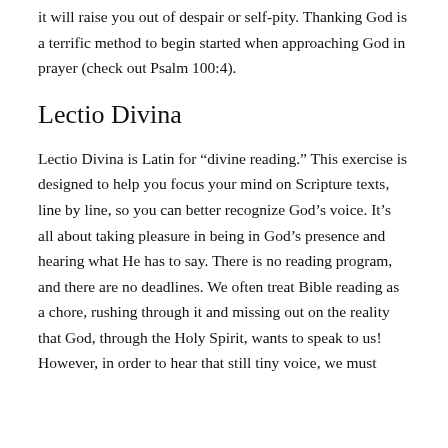it will raise you out of despair or self-pity. Thanking God is a terrific method to begin started when approaching God in prayer (check out Psalm 100:4).
Lectio Divina
Lectio Divina is Latin for “divine reading.” This exercise is designed to help you focus your mind on Scripture texts, line by line, so you can better recognize God’s voice. It’s all about taking pleasure in being in God’s presence and hearing what He has to say. There is no reading program, and there are no deadlines. We often treat Bible reading as a chore, rushing through it and missing out on the reality that God, through the Holy Spirit, wants to speak to us! However, in order to hear that still tiny voice, we must